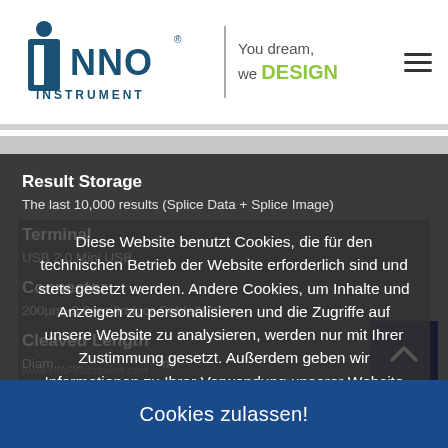[Figure (logo): INNO Instrument logo with tagline 'You dream, we DESIGN' and hamburger menu icon]
Result Storage
The last 10,000 results (Splice Data + Splice Image)
Terminal
USB 2.0 Mini USB
Connector
200µm~3.0mm/Indoor Cable(With a...)
Cleaved Length
Diameter ... mm
Cladding Diameter
80-150㎛
Diese Website benutzt Cookies, die für den technischen Betrieb der Website erforderlich sind und stets gesetzt werden. Andere Cookies, um Inhalte und Anzeigen zu personalisieren und die Zugriffe auf unsere Website zu analysieren, werden nur mit Ihrer Zustimmung gesetzt. Außerdem geben wir Informationen zu Ihrer Verwendung unserer Website an unsere Partner für soziale Medien, Werbung und Analysen weiter. Mehr Infos
Cookies zulassen!
www.inno-instrument.com